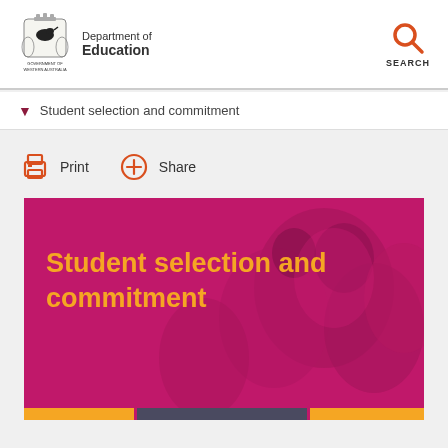Department of Education — Government of Western Australia
Student selection and commitment
Print   Share
[Figure (photo): Hero banner image with magenta/pink background showing students, with title 'Student selection and commitment' in orange text, and colored bars at the bottom]
Student selection and commitment